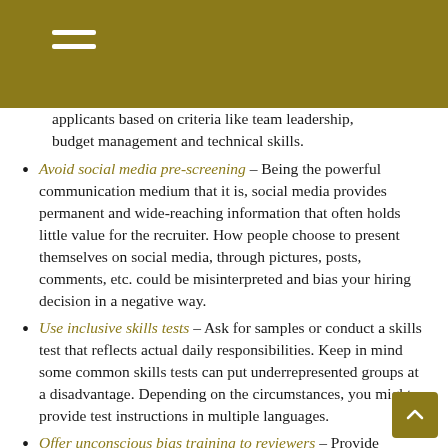applicants based on criteria like team leadership, budget management and technical skills.
Avoid social media pre-screening – Being the powerful communication medium that it is, social media provides permanent and wide-reaching information that often holds little value for the recruiter. How people choose to present themselves on social media, through pictures, posts, comments, etc. could be misinterpreted and bias your hiring decision in a negative way.
Use inclusive skills tests – Ask for samples or conduct a skills test that reflects actual daily responsibilities. Keep in mind some common skills tests can put underrepresented groups at a disadvantage. Depending on the circumstances, you might provide test instructions in multiple languages.
Offer unconscious bias training to reviewers – Provide